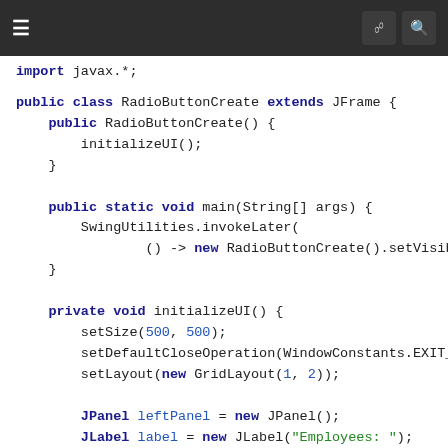[Figure (screenshot): Code editor screenshot showing Java source code for RadioButtonCreate class]
import javax.*;
public class RadioButtonCreate extends JFrame {
    public RadioButtonCreate() {
        initializeUI();
    }

    public static void main(String[] args) {
        SwingUtilities.invokeLater(
                () -> new RadioButtonCreate().setVisible(true));
    }

    private void initializeUI() {
        setSize(500, 500);
        setDefaultCloseOperation(WindowConstants.EXIT_ON_CLOSE);
        setLayout(new GridLayout(1, 2));

        JPanel leftPanel = new JPanel();
        JLabel label = new JLabel("Employees: ");
        leftPanel.add(label);